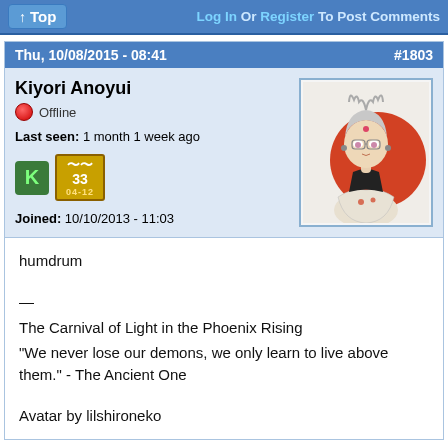Top | Log In Or Register To Post Comments
Thu, 10/08/2015 - 08:41   #1803
Kiyori Anoyui
Offline
Last seen: 1 month 1 week ago
Joined: 10/10/2013 - 11:03
[Figure (illustration): Anime-style avatar illustration of a character with white/silver hair, glasses, red circle backdrop, wearing a white and black outfit]
humdrum

—
The Carnival of Light in the Phoenix Rising
"We never lose our demons, we only learn to live above them." - The Ancient One

Avatar by lilshironeko